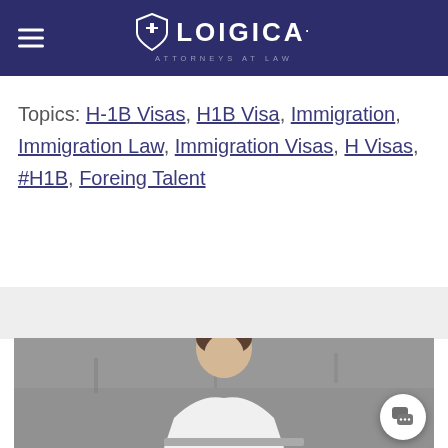LOIGICA. ATTORNEYS AT LAW
Topics: H-1B Visas, H1B Visa, Immigration, Immigration Law, Immigration Visas, H Visas, #H1B, Foreing Talent
[Figure (photo): A young man in a white dress shirt working at a laptop, photographed from above against a concrete wall background]